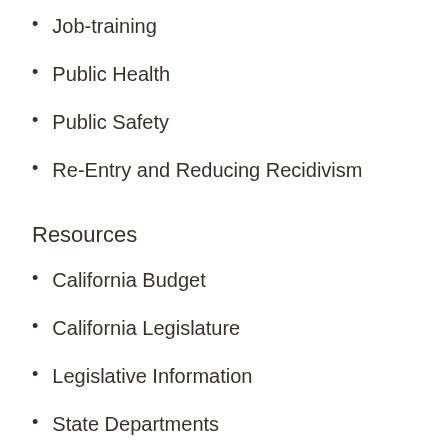Job-training
Public Health
Public Safety
Re-Entry and Reducing Recidivism
Resources
California Budget
California Legislature
Legislative Information
State Departments